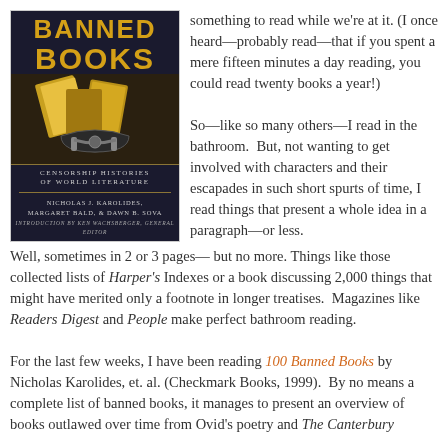[Figure (photo): Book cover of '100 Banned Books: Censorship Histories of World Literature' by Nicholas J. Karolides, Margaret Bald, & Dawn B. Sova. Introduction by Ken Wachsberger, General Editor. Dark navy background with gold title text and image of chained books.]
something to read while we're at it. (I once heard—probably read—that if you spent a mere fifteen minutes a day reading, you could read twenty books a year!)

So—like so many others—I read in the bathroom. But, not wanting to get involved with characters and their escapades in such short spurts of time, I read things that present a whole idea in a paragraph—or less. Well, sometimes in 2 or 3 pages— but no more. Things like those collected lists of Harper's Indexes or a book discussing 2,000 things that might have merited only a footnote in longer treatises. Magazines like Readers Digest and People make perfect bathroom reading.

For the last few weeks, I have been reading 100 Banned Books by Nicholas Karolides, et. al. (Checkmark Books, 1999). By no means a complete list of banned books, it manages to present an overview of books outlawed over time from Ovid's poetry and The Canterbury